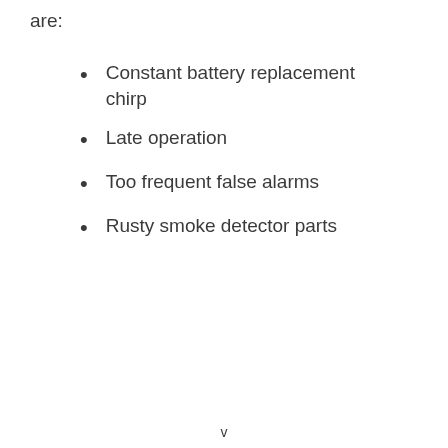are:
Constant battery replacement chirp
Late operation
Too frequent false alarms
Rusty smoke detector parts
v